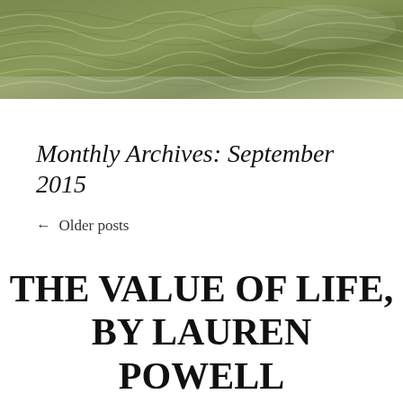[Figure (photo): Olive green textured surface, appears to be a close-up of sheep wool or similar fibrous/natural material with light and shadow detail.]
Monthly Archives: September 2015
← Older posts
THE VALUE OF LIFE, BY LAUREN POWELL